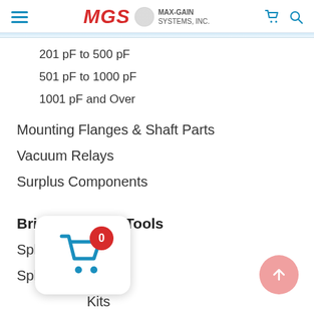MGS MAX-GAIN SYSTEMS, INC.
201 pF to 500 pF
501 pF to 1000 pF
1001 pF and Over
Mounting Flanges & Shaft Parts
Vacuum Relays
Surplus Components
Bristol Wrench Tools
Spline Tools
Spline Tool Kits
Kits